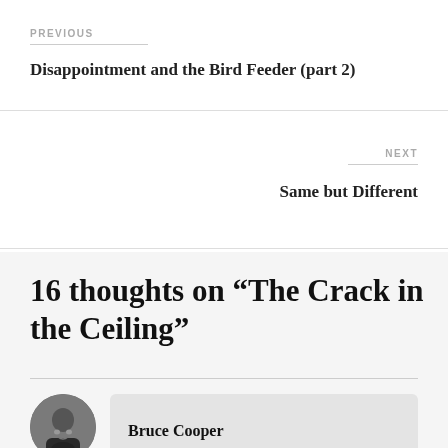PREVIOUS
Disappointment and the Bird Feeder (part 2)
NEXT
Same but Different
16 thoughts on “The Crack in the Ceiling”
Bruce Cooper